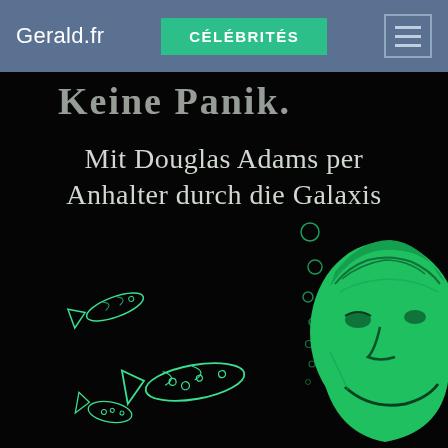Gerald.fr  CÉLÉBRITÉS
[Figure (illustration): Book cover art on black background: partial text 'Keine Panik: Mit Douglas Adams per Anhalter durch die Galaxis' in white serif font at top. Below, green illustrated portrait of a smiling man (right side). Left side shows outline drawings of fish in green on black background, with bubble trail going upward center.]